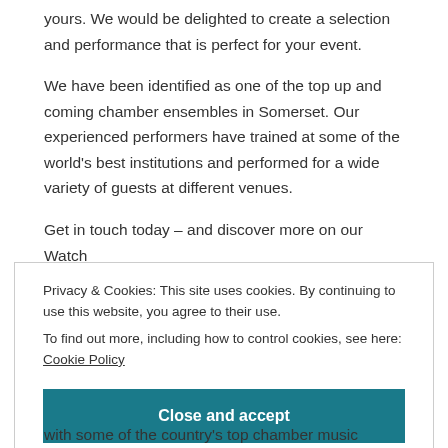yours. We would be delighted to create a selection and performance that is perfect for your event.
We have been identified as one of the top up and coming chamber ensembles in Somerset. Our experienced performers have trained at some of the world's best institutions and performed for a wide variety of guests at different venues.
Get in touch today – and discover more on our Watch
Privacy & Cookies: This site uses cookies. By continuing to use this website, you agree to their use.
To find out more, including how to control cookies, see here: Cookie Policy
Close and accept
with some of the country's top chamber music